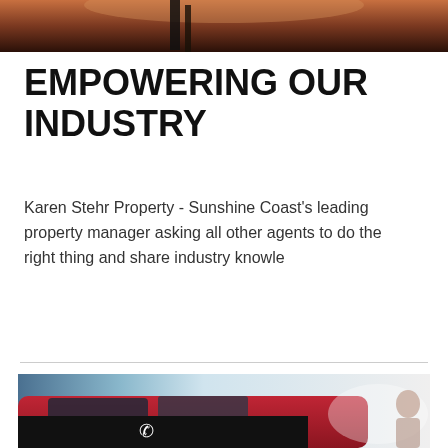[Figure (photo): Top photo showing a silhouette against a sunset/dusk sky background]
EMPOWERING OUR INDUSTRY
Karen Stehr Property - Sunshine Coast's leading property manager asking all other agents to do the right thing and share industry knowle
[Figure (photo): Photo of a red car branded with 'Karen Stehr' text, parked near a waterfront. A black bar with a phone icon overlays the bottom portion.]